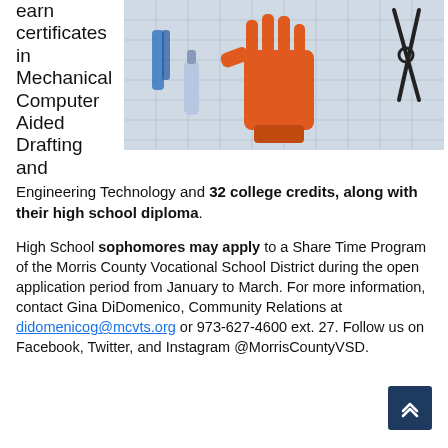earn certificates in Mechanical Computer Aided Drafting and Engineering Technology and 32 college credits, along with their high school diploma.
[Figure (photo): A 3D-printed orange robotic/prosthetic hand displayed on a graph-paper surface, surrounded by tools including pliers, scissors, glue bottles, and other maker supplies.]
High School sophomores may apply to a Share Time Program of the Morris County Vocational School District during the open application period from January to March. For more information, contact Gina DiDomenico, Community Relations at didomenicog@mcvts.org or 973-627-4600 ext. 27. Follow us on Facebook, Twitter, and Instagram @MorrisCountyVSD.